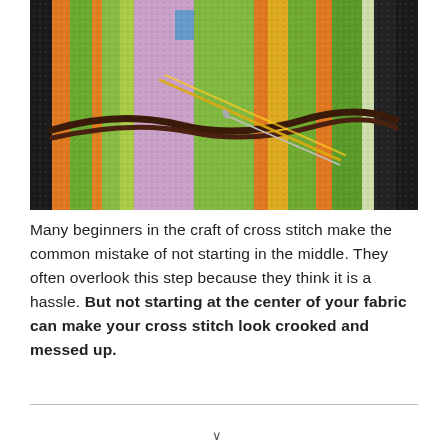[Figure (photo): Close-up photograph of a colorful cross stitch needlework in progress, showing multicolored threads in green, orange, yellow, purple, and black patterns, with a needle and thread visible on the fabric.]
Many beginners in the craft of cross stitch make the common mistake of not starting in the middle. They often overlook this step because they think it is a hassle. But not starting at the center of your fabric can make your cross stitch look crooked and messed up.